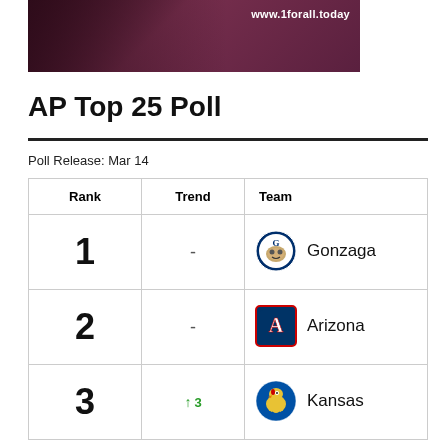[Figure (photo): Banner advertisement with dark reddish overlay showing a musician and the URL www.1forall.today]
AP Top 25 Poll
Poll Release: Mar 14
| Rank | Trend | Team |
| --- | --- | --- |
| 1 | - | Gonzaga |
| 2 | - | Arizona |
| 3 | ↑ 3 | Kansas |